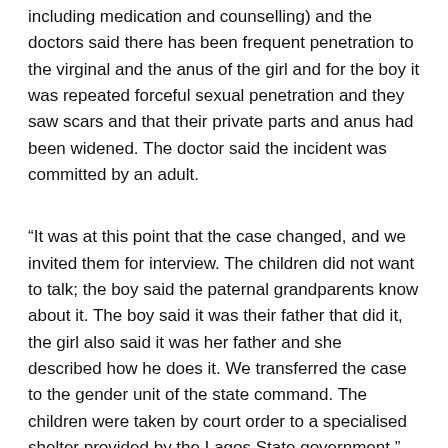including medication and counselling) and the doctors said there has been frequent penetration to the virginal and the anus of the girl and for the boy it was repeated forceful sexual penetration and they saw scars and that their private parts and anus had been widened. The doctor said the incident was committed by an adult.
“It was at this point that the case changed, and we invited them for interview. The children did not want to talk; the boy said the paternal grandparents know about it. The boy said it was their father that did it, the girl also said it was her father and she described how he does it. We transferred the case to the gender unit of the state command. The children were taken by court order to a specialised shelter provided by the Lagos State government,” she said.